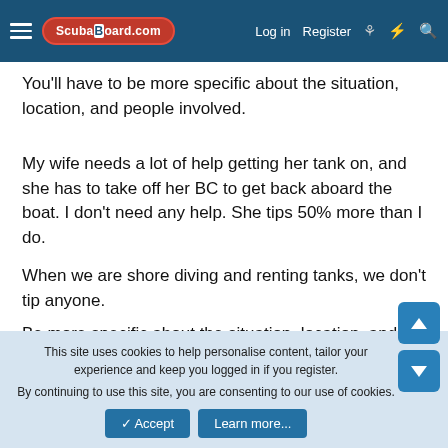ScubaBoard.com — Log in | Register
You'll have to be more specific about the situation, location, and people involved.
My wife needs a lot of help getting her tank on, and she has to take off her BC to get back aboard the boat. I don't need any help. She tips 50% more than I do.
When we are shore diving and renting tanks, we don't tip anyone.
Be more specific about the situation, location, and people involved.
👍 drrich2
This site uses cookies to help personalise content, tailor your experience and keep you logged in if you register.
By continuing to use this site, you are consenting to our use of cookies.